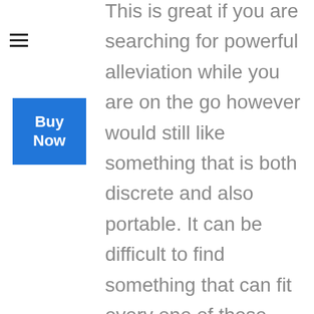[Figure (other): Hamburger menu icon (three horizontal lines)]
[Figure (other): Blue 'Buy Now' button overlay]
This is great if you are searching for powerful alleviation while you are on the go however would still like something that is both discrete and also portable. It can be difficult to find something that can fit every one of these attributes while still being budget-friendly. Fortunately you do not need to continue your search as this set fits all of those requirements provided above. As soon as you obtain your item you will have the ability to open it up and also begin utilizing it without charging. Once you are completed all you need to do is